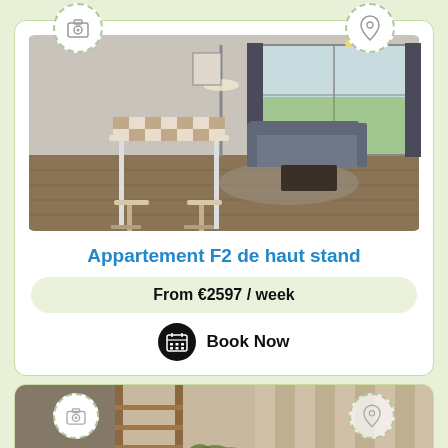[Figure (photo): Interior photo of a modern living room with hardwood floors, gray sofa, coffee table, lamp, and white bar table with stools in the foreground. Sliding glass door to garden visible in background.]
Appartement F2 de haut stand
From €2597 / week
Book Now
[Figure (photo): Partial view of a second listing card showing an interior room with wooden ladder/shelving and curtains with stripes.]